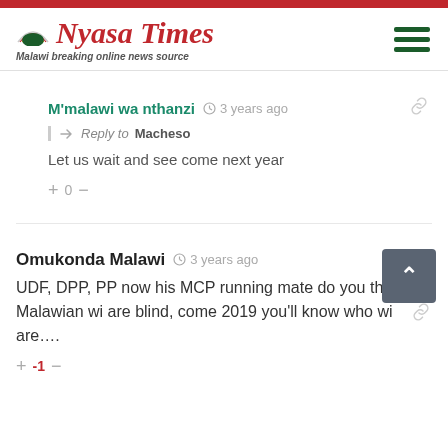Nyasa Times – Malawi breaking online news source
M'malawi wa nthanzi  3 years ago
Reply to Macheso
Let us wait and see come next year
+0−
Omukonda Malawi  3 years ago
UDF, DPP, PP now his MCP running mate do you think Malawian wi are blind, come 2019 you'll know who wi are….
+-1−